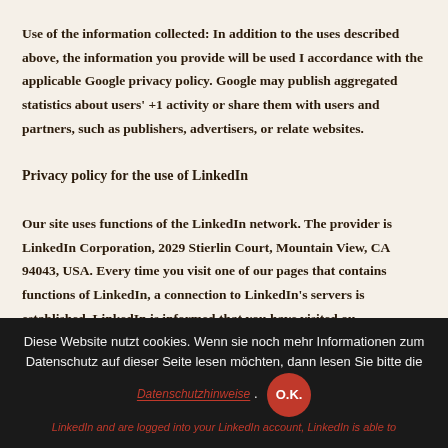Use of the information collected: In addition to the uses described above, the information you provide will be used I accordance with the applicable Google privacy policy. Google may publish aggregated statistics about users' +1 activity or share them with users and partners, such as publishers, advertisers, or related websites.
Privacy policy for the use of LinkedIn
Our site uses functions of the LinkedIn network. The provider is LinkedIn Corporation, 2029 Stierlin Court, Mountain View, CA 94043, USA. Every time you visit one of our pages that contains functions of LinkedIn, a connection to LinkedIn's servers is established. LinkedIn is informed that you have visited our website with your IP address. If you click the LinkedIn "Recommend" button and are logged into your LinkedIn account, LinkedIn is able to
Diese Website nutzt cookies. Wenn sie noch mehr Informationen zum Datenschutz auf dieser Seite lesen möchten, dann lesen Sie bitte die Datenschutzhinweise. O.K.